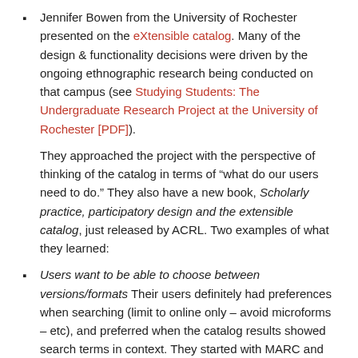Jennifer Bowen from the University of Rochester presented on the eXtensible catalog. Many of the design & functionality decisions were driven by the ongoing ethnographic research being conducted on that campus (see Studying Students: The Undergraduate Research Project at the University of Rochester [PDF]).
They approached the project with the perspective of thinking of the catalog in terms of "what do our users need to do." They also have a new book, Scholarly practice, participatory design and the extensible catalog, just released by ACRL. Two examples of what they learned:
Users want to be able to choose between versions/formats Their users definitely had preferences when searching (limit to online only – avoid microforms – etc), and preferred when the catalog results showed search terms in context. They started with MARC and did a lot of transformation of the data, working with FRBR (works, expressions,